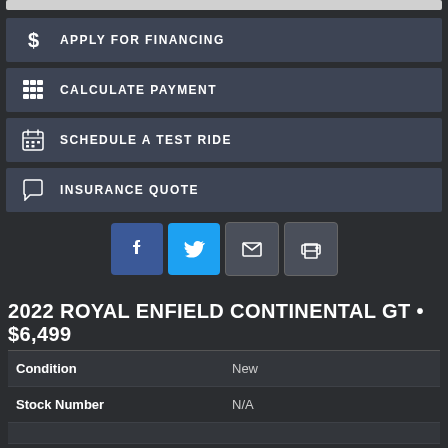APPLY FOR FINANCING
CALCULATE PAYMENT
SCHEDULE A TEST RIDE
INSURANCE QUOTE
[Figure (screenshot): Social sharing icons: Facebook, Twitter, Email, Print]
2022 ROYAL ENFIELD CONTINENTAL GT • $6,499
| Field | Value |
| --- | --- |
| Condition | New |
| Stock Number | N/A |